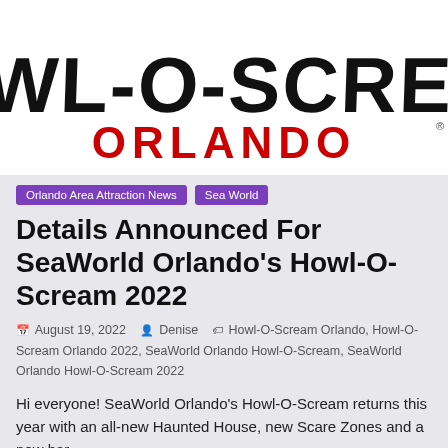[Figure (logo): Howl-O-Scream Orlando logo — large distressed horror-style text 'HOWL-O-SCREAM' in black with 'ORLANDO' in red below, on white background]
Orlando Area Attraction News
Sea World
Details Announced For SeaWorld Orlando's Howl-O-Scream 2022
August 19, 2022   Denise   Howl-O-Scream Orlando, Howl-O-Scream Orlando 2022, SeaWorld Orlando Howl-O-Scream, SeaWorld Orlando Howl-O-Scream 2022
Hi everyone! SeaWorld Orlando's Howl-O-Scream returns this year with an all-new Haunted House, new Scare Zones and a new bar